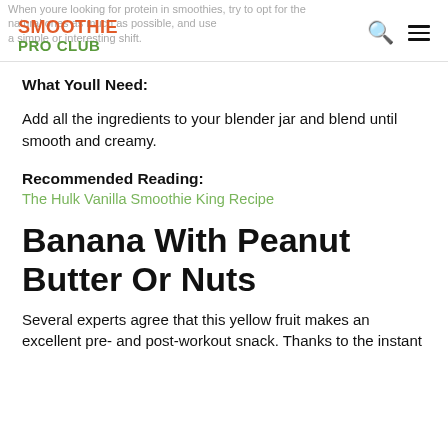SMOOTHIE PRO CLUB
What Youll Need:
Add all the ingredients to your blender jar and blend until smooth and creamy.
Recommended Reading:
The Hulk Vanilla Smoothie King Recipe
Banana With Peanut Butter Or Nuts
Several experts agree that this yellow fruit makes an excellent pre- and post-workout snack. Thanks to the instant